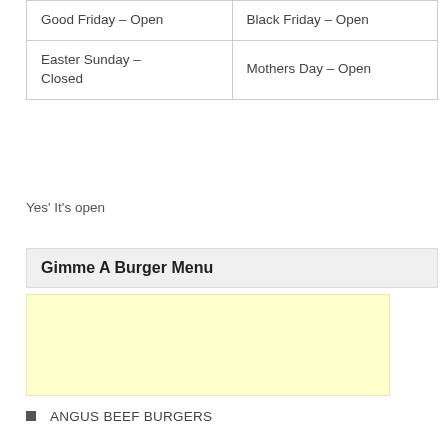| Good Friday – Open | Black Friday – Open |
| Easter Sunday – Closed | Mothers Day – Open |
Yes' It's open
Gimme A Burger Menu
[Figure (other): Yellow advertisement placeholder box]
ANGUS BEEF BURGERS
VEGAN BURGERS
CHICKEN